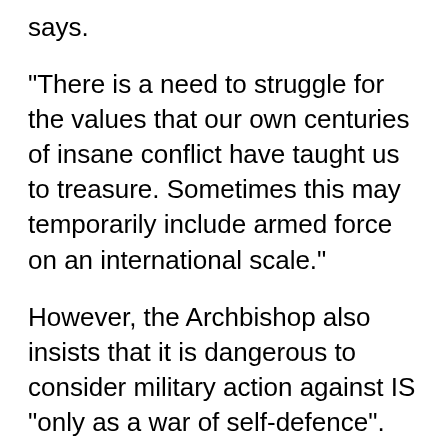says.
"There is a need to struggle for the values that our own centuries of insane conflict have taught us to treasure. Sometimes this may temporarily include armed force on an international scale."
However, the Archbishop also insists that it is dangerous to consider military action against IS "only as a war of self-defence".
"The justification for our use of military force rests principally in the extreme humanitarian need of the local communities...The aim of our violence must be to prevent the alteration of facts on the ground, and